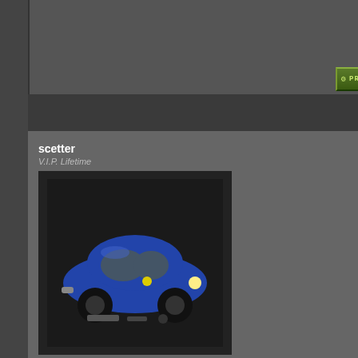[Figure (screenshot): Forum post page showing user scetter's post about switching site to dragonfly CMS, with avatar of blue VW Beetle car, user info panel, post content with links, and forum navigation buttons]
scetter
V.I.P. Lifetime
Joined: Oct 14, 2005
Posts: 28
Location: Vermont
Posted: Wed Nov 16, 2005 7:02 pm
Post subject:
Just switched my site to dragonfly.
Am now using the pnflashgames for Dragonfly and these forums as well as my forums when I a
You can see how the Arcade is progressing
http://www.skeeterspub.com
My web site running the latest build of pnFla
http://www.skeeterspub.com
DEV site(Modules and webmaster resource
http://www.skpdev.net
Display posts from previous:
All Posts
Oldest First
Go
NEW TOPIC